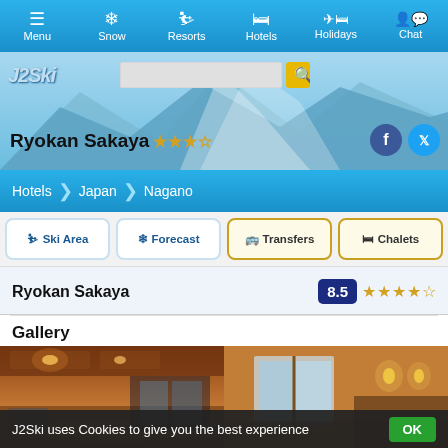Menu | Snow | Resorts | Hotels | Holidays | Chat
Ryokan Sakaya ★★★★
[Figure (screenshot): J2Ski website header with logo and mountain snow background]
Hotels > Japan > Nagano
🎿 Ski Area
❄ Forecast
🚌 Transfers
🛏 Chalets
Ryokan Sakaya  8.5 ★★★★
Gallery
[Figure (photo): Two interior lobby photos of Ryokan Sakaya]
J2Ski uses Cookies to give you the best experience  OK